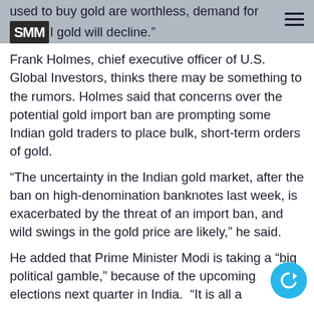used to buy gold are worthless, demand for physical gold will decline. SMM logo and hamburger menu.
Frank Holmes, chief executive officer of U.S. Global Investors, thinks there may be something to the rumors. Holmes said that concerns over the potential gold import ban are prompting some Indian gold traders to place bulk, short-term orders of gold.
"The uncertainty in the Indian gold market, after the ban on high-denomination banknotes last week, is exacerbated by the threat of an import ban, and wild swings in the gold price are likely," he said.
He added that Prime Minister Modi is taking a "big political gamble," because of the upcoming elections next quarter in India.  "It is all a